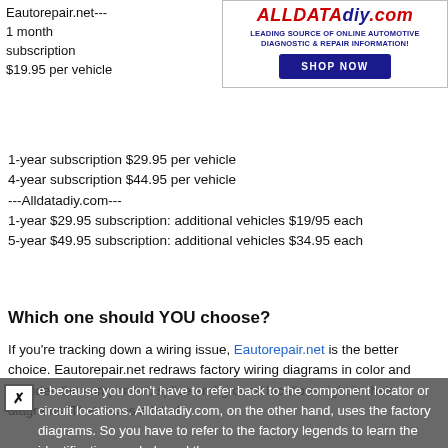Eautorepair.net--- 1 month subscription $19.95 per vehicle
[Figure (other): ALLDATADIY.com advertisement banner with red/blue logo, subtitle 'LEADING SOURCE OF ONLINE AUTOMOTIVE DIAGNOSTIC & REPAIR INFORMATION!', and blue SHOP NOW button]
1-year subscription $29.95 per vehicle
4-year subscription $44.95 per vehicle
---Alldatadiy.com---
1-year $29.95 subscription: additional vehicles $19/95 each
5-year $49.95 subscription: additional vehicles $34.95 each
Which one should YOU choose?
If you’re tracking down a wiring issue, Eautorepair.net is the better choice. Eautorepair.net redraws factory wiring diagrams in color and includes the component, splice and ground locations right in their diagrams. That saves a lot of time because you don’t have to refer back to the component locator or circuit locations. Alldatadiy.com, on the other hand, uses the factory diagrams. So you have to refer to the factory legends to learn the identification symbols and then